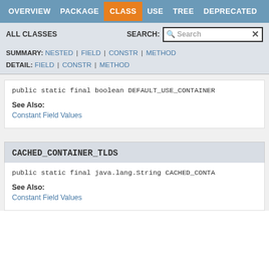OVERVIEW | PACKAGE | CLASS | USE | TREE | DEPRECATED
ALL CLASSES   SEARCH:
SUMMARY: NESTED | FIELD | CONSTR | METHOD
DETAIL: FIELD | CONSTR | METHOD
public static final boolean DEFAULT_USE_CONTAINER
See Also:
Constant Field Values
CACHED_CONTAINER_TLDS
public static final java.lang.String CACHED_CONTA
See Also:
Constant Field Values